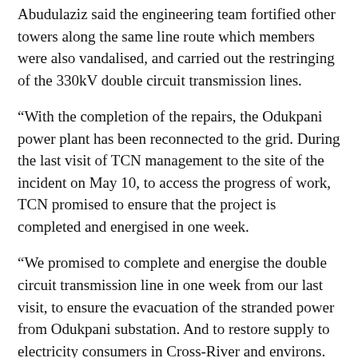Abudulaziz said the engineering team fortified other towers along the same line route which members were also vandalised, and carried out the restringing of the 330kV double circuit transmission lines.
“With the completion of the repairs, the Odukpani power plant has been reconnected to the grid. During the last visit of TCN management to the site of the incident on May 10, to access the progress of work, TCN promised to ensure that the project is completed and energised in one week.
“We promised to complete and energise the double circuit transmission line in one week from our last visit, to ensure the evacuation of the stranded power from Odukpani substation. And to restore supply to electricity consumers in Cross-River and environs. We have been able to complete and energise the line before the one week we promised,” he said.
Abudulaziz appealed to Nigerians to cooperate with TCN and security operatives to ensure that the fight against vandalism of our collective national assets was won.